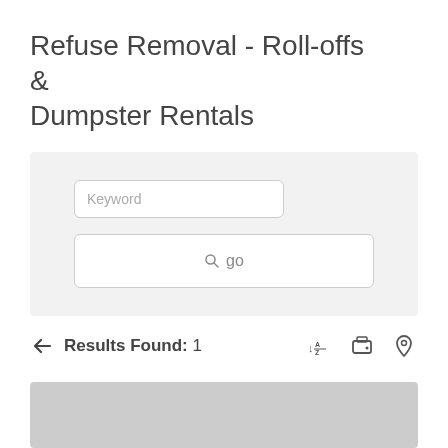Refuse Removal - Roll-offs & Dumpster Rentals
[Figure (screenshot): Search panel with Keyword input field and go button]
Results Found: 1
[Figure (screenshot): Listing preview card at the bottom of the page (partially visible, gray background)]